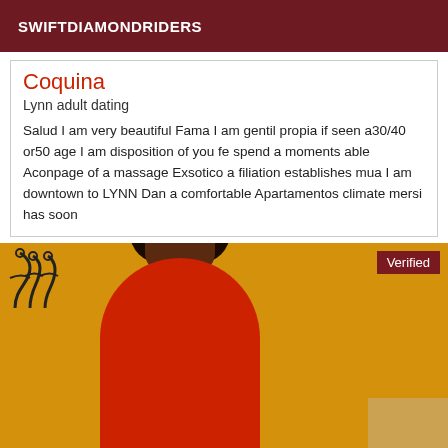SWIFTDIAMONDRIDERS
Coquina
Lynn adult dating
Salud I am very beautiful Fama I am gentil propia if seen a30/40 or50 age I am disposition of you fe spend a moments able Aconpage of a massage Exsotico a filiation establishes mua I am downtown to LYNN Dan a comfortable Apartamentos climate mersi has soon
[Figure (photo): Woman in red dress seated, yellow background, with 'Verified' badge in top-right corner]